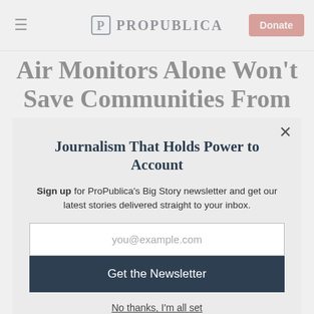ProPublica — Donate
Air Monitors Alone Won't Save Communities From
Journalism That Holds Power to Account
Sign up for ProPublica's Big Story newsletter and get our latest stories delivered straight to your inbox.
you@example.com
Get the Newsletter
No thanks, I'm all set
This site is protected by reCAPTCHA and the Google Privacy Policy and Terms of Service apply.